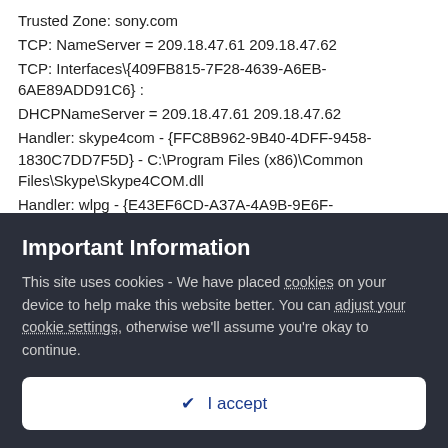Trusted Zone: sony.com
TCP: NameServer = 209.18.47.61 209.18.47.62
TCP: Interfaces\{409FB815-7F28-4639-A6EB-6AE89ADD91C6}: DHCPNameServer = 209.18.47.61 209.18.47.62
Handler: skype4com - {FFC8B962-9B40-4DFF-9458-1830C7DD7F5D} - C:\Program Files (x86)\Common Files\Skype\Skype4COM.dll
Handler: wlpg - {E43EF6CD-A37A-4A9B-9E6F-83F89B8E6324} - C:\Program Files (x86)\Windows Live\Photo Gallery\AlbumDownloadProtocolHandler.dll
SSODL: WebCheck - <orphaned>
mASetup: {8A69D345-D564-463c-AFF1-A69D9E530F96} - "C:\Program Files
Important Information
This site uses cookies - We have placed cookies on your device to help make this website better. You can adjust your cookie settings, otherwise we'll assume you're okay to continue.
✔  I accept